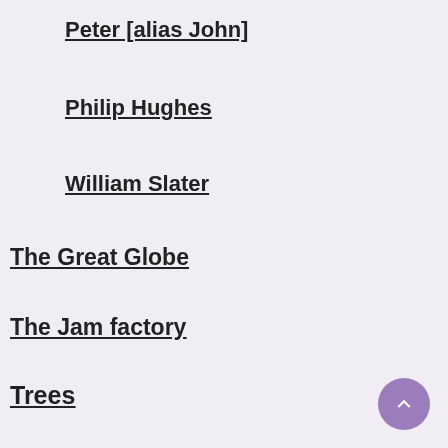Peter [alias John]
Philip Hughes
William Slater
The Great Globe
The Jam factory
Trees
Beauly's Wych Elm
Goodnestone chestnut tree
One way of measuring a tree
Sir Walter Scott's Tree